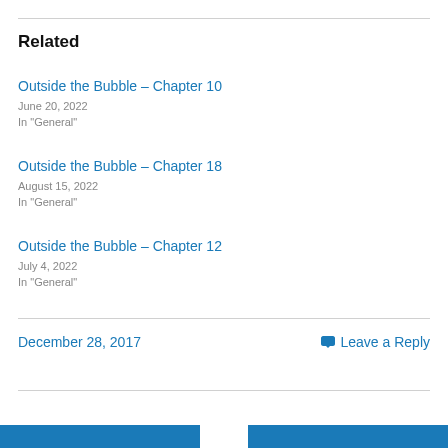Related
Outside the Bubble – Chapter 10
June 20, 2022
In "General"
Outside the Bubble – Chapter 18
August 15, 2022
In "General"
Outside the Bubble – Chapter 12
July 4, 2022
In "General"
December 28, 2017
Leave a Reply